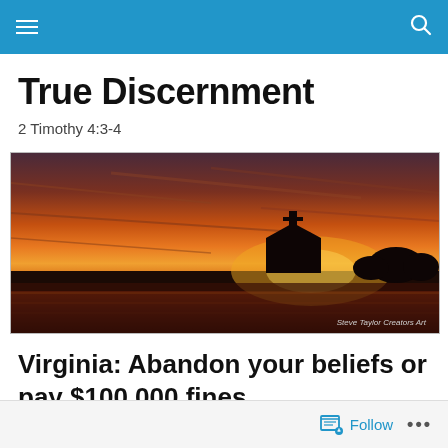True Discernment navigation bar
True Discernment
2 Timothy 4:3-4
[Figure (photo): Panoramic sunset photo showing silhouette of a church with a cross against a vivid orange and red sky, reflected on water. Watermark reads: Steve Taylor Creators Art]
Virginia: Abandon your beliefs or pay $100,000 fines
Follow  •••